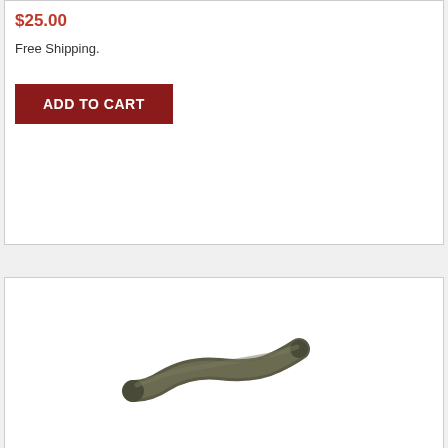$25.00
Free Shipping.
ADD TO CART
[Figure (photo): Upper Radiator Hose AMC V8 product photo — a dark grey/olive curved rubber hose with two bends]
Upper Radiator Hose AMC V8
★★★★★ (0)
$25.00
Free Shipping.